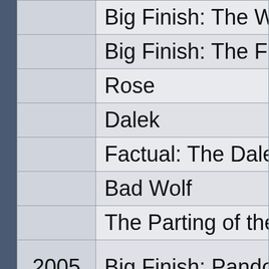| Year | Title |
| --- | --- |
|  | Big Finish: The Warrio... |
|  | Big Finish: The Future... |
|  | Rose |
|  | Dalek |
|  | Factual: The Daleks |
|  | Bad Wolf |
|  | The Parting of the Wa... |
| 2005 | Big Finish: Pandora |
|  | Big Finish: Terror Firm... |
|  | Big Finish: Imperiatrix... |